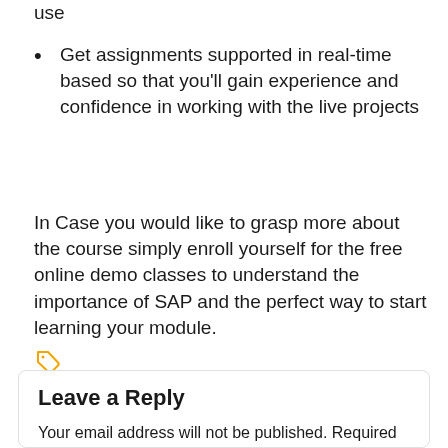use
Get assignments supported in real-time based so that you'll gain experience and confidence in working with the live projects
In Case you would like to grasp more about the course simply enroll yourself for the free online demo classes to understand the importance of SAP and the perfect way to start learning your module.
Business Management Software
SAP FI Online Training India
Leave a Reply
Your email address will not be published. Required fields are